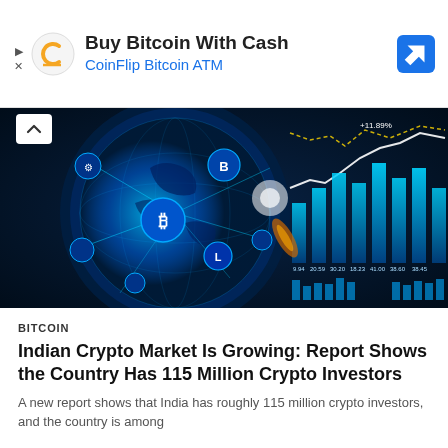[Figure (advertisement): Ad banner for CoinFlip Bitcoin ATM with logo and navigation arrow icon. Text reads 'Buy Bitcoin With Cash' and 'CoinFlip Bitcoin ATM']
[Figure (photo): Cryptocurrency themed image showing a glowing digital globe with crypto coin icons (Bitcoin, Binance, Litecoin, etc.) overlaid on dark blue background with bar chart and line graph elements on the right side]
BITCOIN
Indian Crypto Market Is Growing: Report Shows the Country Has 115 Million Crypto Investors
A new report shows that India has roughly 115 million crypto investors, and the country is among...